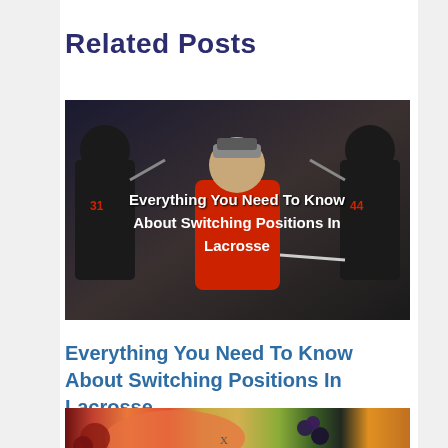Related Posts
[Figure (photo): A lacrosse coach or player in a red hoodie and cap holding a lacrosse stick, surrounded by players in dark jerseys. Overlaid white text reads 'Everything You Need To Know About Switching Positions In Lacrosse'.]
Everything You Need To Know About Switching Positions In Lacrosse
[Figure (photo): A top-down food photo showing salmon, berries, nuts, and various healthy foods arranged together.]
X